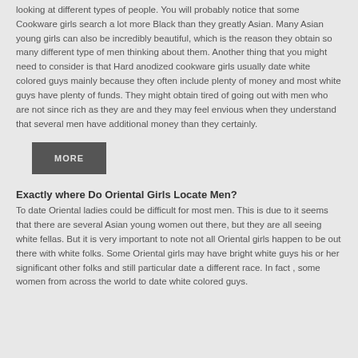looking at different types of people. You will probably notice that some Cookware girls search a lot more Black than they greatly Asian. Many Asian young girls can also be incredibly beautiful, which is the reason they obtain so many different type of men thinking about them. Another thing that you might need to consider is that Hard anodized cookware girls usually date white colored guys mainly because they often include plenty of money and most white guys have plenty of funds. They might obtain tired of going out with men who are not since rich as they are and they may feel envious when they understand that several men have additional money than they certainly.
MORE
Exactly where Do Oriental Girls Locate Men?
To date Oriental ladies could be difficult for most men. This is due to it seems that there are several Asian young women out there, but they are all seeing white fellas. But it is very important to note not all Oriental girls happen to be out there with white folks. Some Oriental girls may have bright white guys his or her significant other folks and still particular date a different race. In fact , some women from across the world to date white colored guys.